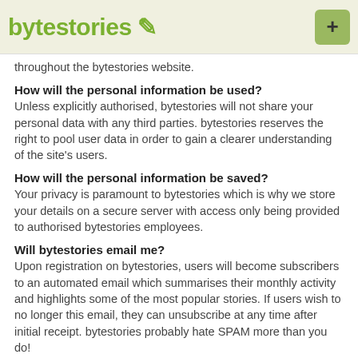bytestories /
throughout the bytestories website.
How will the personal information be used?
Unless explicitly authorised, bytestories will not share your personal data with any third parties. bytestories reserves the right to pool user data in order to gain a clearer understanding of the site's users.
How will the personal information be saved?
Your privacy is paramount to bytestories which is why we store your details on a secure server with access only being provided to authorised bytestories employees.
Will bytestories email me?
Upon registration on bytestories, users will become subscribers to an automated email which summarises their monthly activity and highlights some of the most popular stories. If users wish to no longer this email, they can unsubscribe at any time after initial receipt. bytestories probably hate SPAM more than you do!